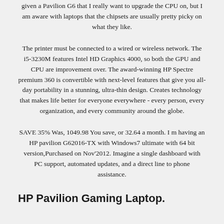given a Pavilion G6 that I really want to upgrade the CPU on, but I am aware with laptops that the chipsets are usually pretty picky on what they like.
The printer must be connected to a wired or wireless network. The i5-3230M features Intel HD Graphics 4000, so both the GPU and CPU are improvement over. The award-winning HP Spectre premium 360 is convertible with next-level features that give you all-day portability in a stunning, ultra-thin design. Creates technology that makes life better for everyone everywhere - every person, every organization, and every community around the globe.
SAVE 35% Was, 1049.98 You save, or 32.64 a month. I m having an HP pavilion G62016-TX with Windows7 ultimate with 64 bit version,Purchased on Nov'2012. Imagine a single dashboard with PC support, automated updates, and a direct line to phone assistance.
HP Pavilion Gaming Laptop.